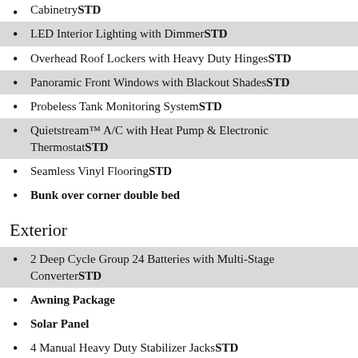CabinetrySTD
LED Interior Lighting with DimmerSTD
Overhead Roof Lockers with Heavy Duty HingesSTD
Panoramic Front Windows with Blackout ShadesSTD
Probeless Tank Monitoring SystemSTD
Quietstream™ A/C with Heat Pump & Electronic ThermostatSTD
Seamless Vinyl FlooringSTD
Bunk over corner double bed
Exterior
2 Deep Cycle Group 24 Batteries with Multi-Stage ConverterSTD
Awning Package
Solar Panel
4 Manual Heavy Duty Stabilizer JacksSTD
Airstream Custom Aluminum Step (19': Thule®Aluminum Step)STD
Aluminum Entry Door HandleSTD
Aluminum LP CoverSTD
Black Tank Flush SystemSTD
Cable TV HookupSTD